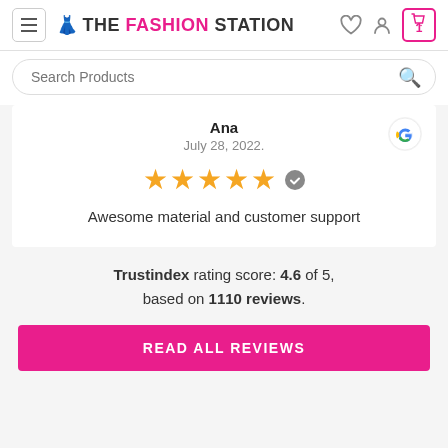THE FASHION STATION
Search Products
Ana
July 28, 2022.
★★★★★
Awesome material and customer support
Trustindex rating score: 4.6 of 5, based on 1110 reviews.
READ ALL REVIEWS